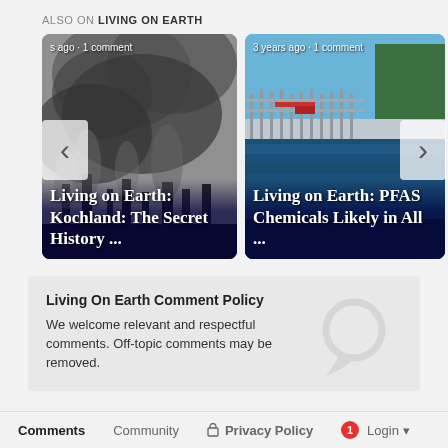ALSO ON LIVING ON EARTH
[Figure (photo): Industrial smoke stacks with dark smoke, grayscale photo. Card overlay shows 's ago · 1 comment' and title 'Living on Earth: Kochland: The Secret History ...']
[Figure (photo): Water treatment facility with blue tanks and metal structures, color photo. Card overlay shows '3 years ago · 1 comment' and title 'Living on Earth: PFAS Chemicals Likely in All ...']
Living On Earth Comment Policy
We welcome relevant and respectful comments. Off-topic comments may be removed.
Comments    Community    Privacy Policy    1   Login